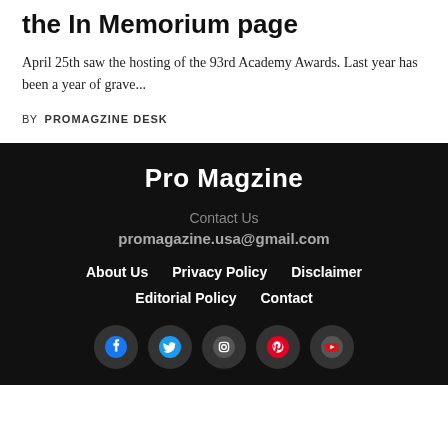the In Memorium page
April 25th saw the hosting of the 93rd Academy Awards. Last year has been a year of grave...
BY PROMAGZINE DESK
Pro Magzine
Contact Us
promagazine.usa@gmail.com
About Us  Privacy Policy  Disclaimer  Editorial Policy  Contact
[Figure (other): Row of 5 social media icons (Facebook, Twitter, Instagram, Pinterest, YouTube) as white icons on dark circular buttons]